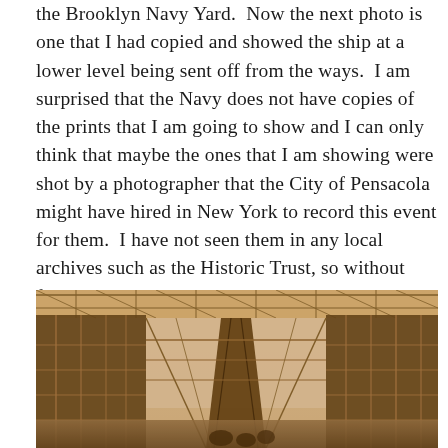the Brooklyn Navy Yard.  Now the next photo is one that I had copied and showed the ship at a lower level being sent off from the ways.  I am surprised that the Navy does not have copies of the prints that I am going to show and I can only think that maybe the ones that I am showing were shot by a photographer that the City of Pensacola might have hired in New York to record this event for them.  I have not seen them in any local archives such as the Historic Trust, so without further ado …
[Figure (photo): Sepia-toned historical photograph showing the interior of a large shipyard building or dry dock with scaffolding and structural steel framework. A ship's hull or keel structure is visible in the center, surrounded by wooden scaffolding on both sides. Workers or figures are visible at the bottom of the image. The photo has a warm brownish tone typical of early 20th century photography.]